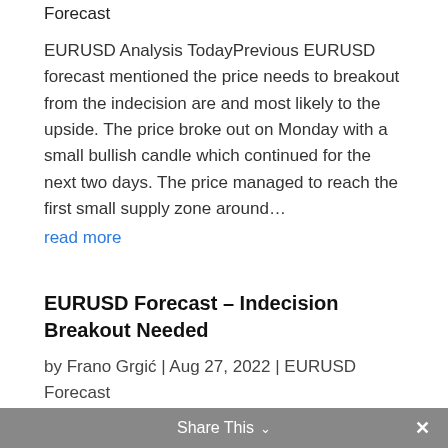Forecast
EURUSD Analysis TodayPrevious EURUSD forecast mentioned the price needs to breakout from the indecision are and most likely to the upside. The price broke out on Monday with a small bullish candle which continued for the next two days. The price managed to reach the first small supply zone around…
read more
EURUSD Forecast – Indecision Breakout Needed
by Frano Grgić | Aug 27, 2022 | EURUSD Forecast
Share This